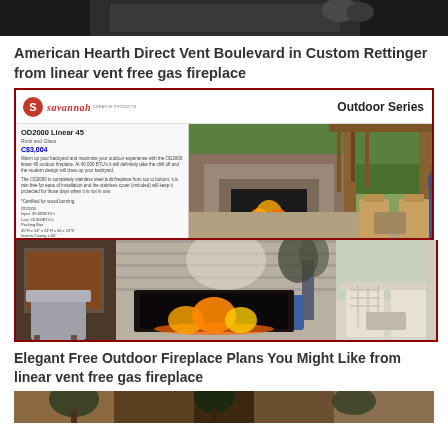[Figure (photo): Top partial image, dark background fireplace or hearth product]
American Hearth Direct Vent Boulevard in Custom Rettinger from linear vent free gas fireplace
[Figure (photo): Savannah Outdoor Series product brochure image showing OD2000 Linear 45 outdoor fireplace with price C$3,004 and outdoor patio setting with stone fireplace under wooden pergola]
[Figure (photo): Large photo of modern outdoor/indoor fireplace with stone surround and patio furniture including two chairs]
Elegant Free Outdoor Fireplace Plans You Might Like from linear vent free gas fireplace
[Figure (photo): Partial bottom image showing outdoor fireplace scene]